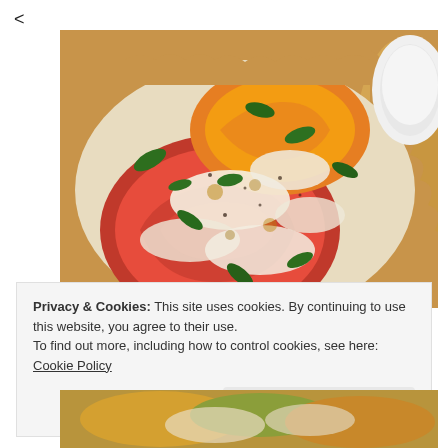<
[Figure (photo): Close-up photo of a tomato tart/pie with colorful heirloom tomatoes (red, yellow, green), melted cheese, and fresh basil leaves in a golden pastry crust, with a white ramekin visible in the upper right corner.]
Privacy & Cookies: This site uses cookies. By continuing to use this website, you agree to their use.
To find out more, including how to control cookies, see here: Cookie Policy
Close and accept
[Figure (photo): Partial view of another food dish at the bottom of the page, showing similar tart with yellow and green vegetables.]